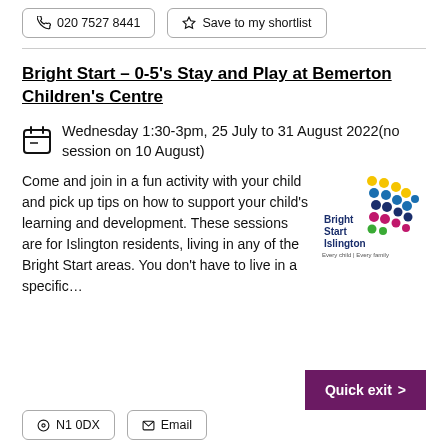020 7527 8441 | Save to my shortlist
Bright Start – 0-5's Stay and Play at Bemerton Children's Centre
Wednesday 1:30-3pm, 25 July to 31 August 2022(no session on 10 August)
Come and join in a fun activity with your child and pick up tips on how to support your child’s learning and development. These sessions are for Islington residents, living in any of the Bright Start areas. You don’t have to live in a specific…
[Figure (logo): Bright Start Islington logo with coloured dots and tagline 'Every child | Every family']
Quick exit >
N1 0DX | Email